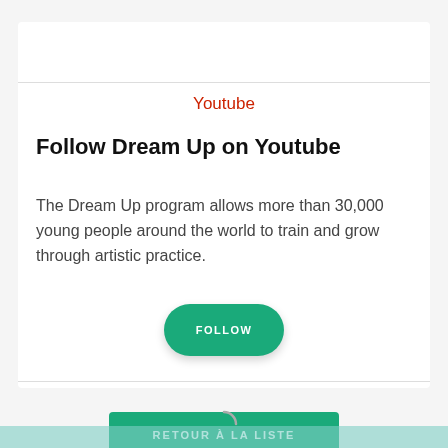Youtube
Follow Dream Up on Youtube
The Dream Up program allows more than 30,000 young people around the world to train and grow through artistic practice.
FOLLOW
RETOUR À LA LISTE